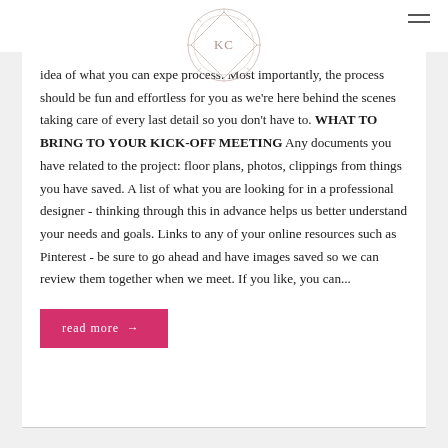[Figure (logo): KC monogram logo inside a decorative diamond/sunburst geometric outline circle]
idea of what you can exp... e process. Most importantly, the process should be fun and effortless for you as we're here behind the scenes taking care of every last detail so you don't have to. WHAT TO BRING TO YOUR KICK-OFF MEETING Any documents you have related to the project: floor plans, photos, clippings from things you have saved. A list of what you are looking for in a professional designer - thinking through this in advance helps us better understand your needs and goals. Links to any of your online resources such as Pinterest - be sure to go ahead and have images saved so we can review them together when we meet. If you like, you can...
read more →